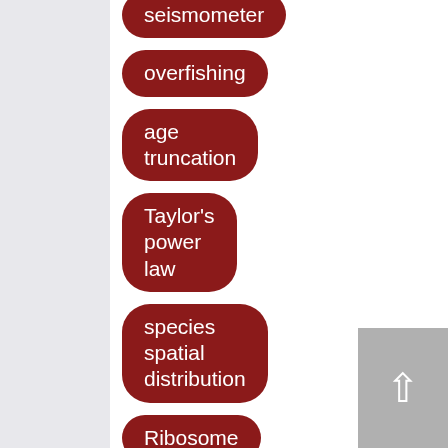seismometer
overfishing
age truncation
Taylor's power law
species spatial distribution
Ribosome
single-molecule
optical